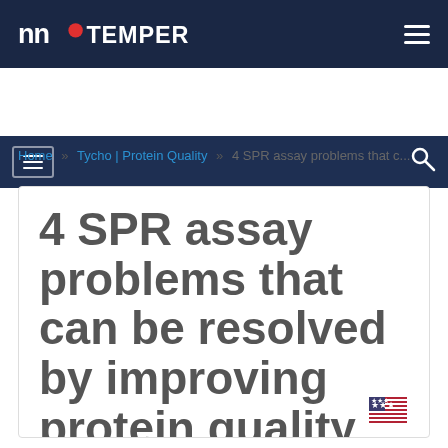NanoTemper (logo) — navigation bar
Menu / Search navigation bar
Home » Tycho | Protein Quality » 4 SPR assay problems that c...
4 SPR assay problems that can be resolved by improving protein quality